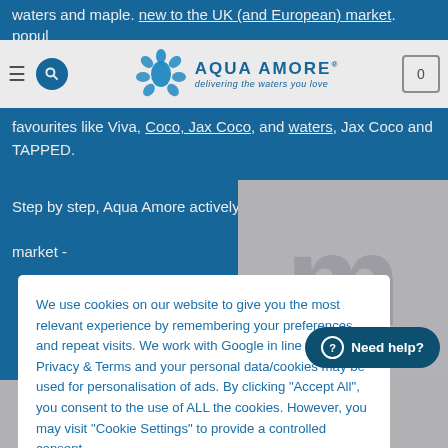Aqua Amore — delivering the waters you love
waters and maple. new to the UK (and European) market. favourites like Viva, Coco, Jax Coco and TAPPED.
Step by step, Aqua Amore actively grow the understanding ...hin the market -
We use cookies on our website to give you the most relevant experience by remembering your preferences and repeat visits. We work with Google in line with their Privacy & Terms and your personal data/cookies may be used for personalisation of ads. By clicking "Accept All", you consent to the use of ALL the cookies. However, you may visit "Cookie Settings" to provide a controlled consent.
Cookie Settings
Accept All
Need help?